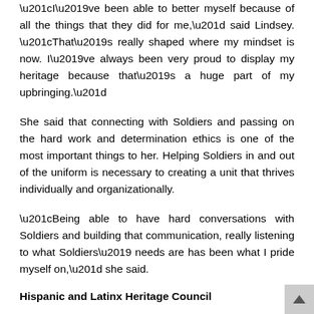“I’ve been able to better myself because of all the things that they did for me,” said Lindsey. “That’s really shaped where my mindset is now. I’ve always been very proud to display my heritage because that’s a huge part of my upbringing.”
She said that connecting with Soldiers and passing on the hard work and determination ethics is one of the most important things to her. Helping Soldiers in and out of the uniform is necessary to creating a unit that thrives individually and organizationally.
“Being able to have hard conversations with Soldiers and building that communication, really listening to what Soldiers’ needs are has been what I pride myself on,” she said.
Hispanic and Latinx Heritage Council